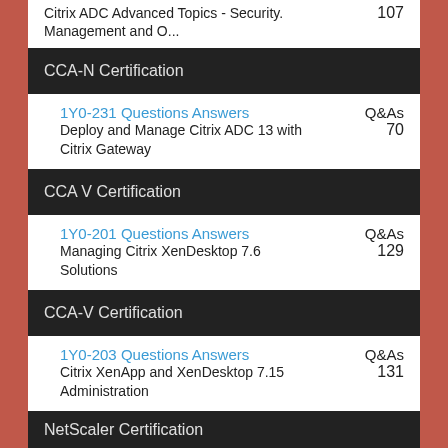Citrix ADC Advanced Topics - Security. Management and O...    107
CCA-N Certification
1Y0-231 Questions Answers
Deploy and Manage Citrix ADC 13 with Citrix Gateway
Q&As 70
CCA V Certification
1Y0-201 Questions Answers
Managing Citrix XenDesktop 7.6 Solutions
Q&As 129
CCA-V Certification
1Y0-203 Questions Answers
Citrix XenApp and XenDesktop 7.15 Administration
Q&As 131
NetScaler Certification